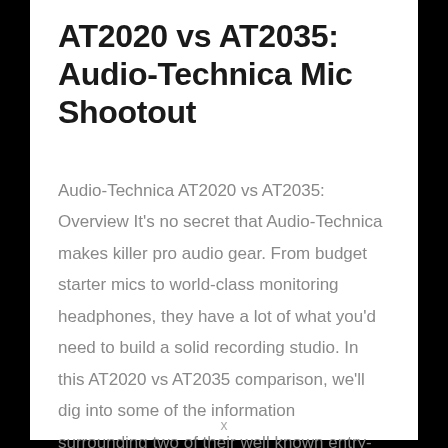AT2020 vs AT2035: Audio-Technica Mic Shootout
Audio-Technica AT2020 vs AT2035: Overview It's no secret that Audio-Technica makes killer pro audio gear. From budget starter mics to world-class monitoring headphones, they have a lot of what you'd need to build a solid recording studio. In this AT2020 vs AT2035 comparison, we'll dig into some of the information surrounding two of their well known entry-level mics.  We'll look at things like the frequency response graphs, polar patterns,
x